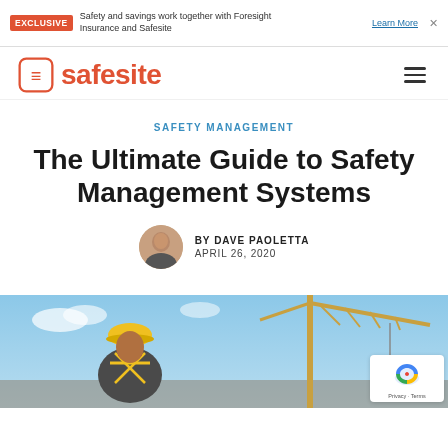EXCLUSIVE | Safety and savings work together with Foresight Insurance and Safesite | Learn More
[Figure (logo): Safesite logo with orange icon and wordmark]
SAFETY MANAGEMENT
The Ultimate Guide to Safety Management Systems
BY DAVE PAOLETTA
APRIL 26, 2020
[Figure (photo): Construction worker in yellow hard hat and reflective vest looking at a crane against a blue sky background]